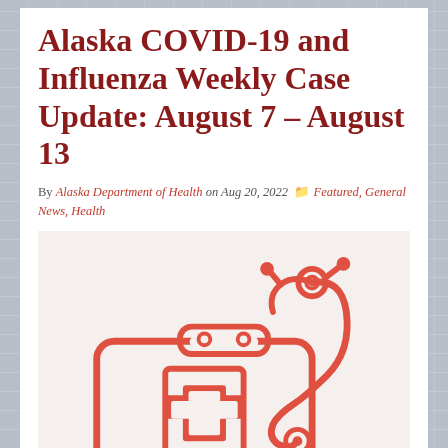Alaska COVID-19 and Influenza Weekly Case Update: August 7 – August 13
By Alaska Department of Health on Aug 20, 2022  Featured, General News, Health
[Figure (illustration): Red line-art illustration of a medical first aid kit with a cross symbol and a stethoscope on a light background]